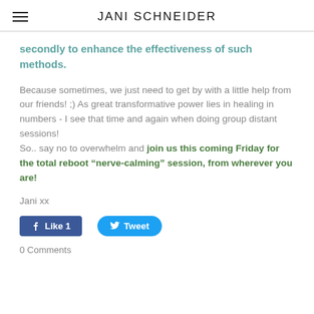JANI SCHNEIDER
secondly to enhance the effectiveness of such methods.
Because sometimes, we just need to get by with a little help from our friends! ;) As great transformative power lies in healing in numbers - I see that time and again when doing group distant sessions!
So.. say no to overwhelm and join us this coming Friday for the total reboot “nerve-calming” session, from wherever you are!
Jani xx
[Figure (other): Facebook Like button showing Like 1 and Twitter Tweet button]
0 Comments